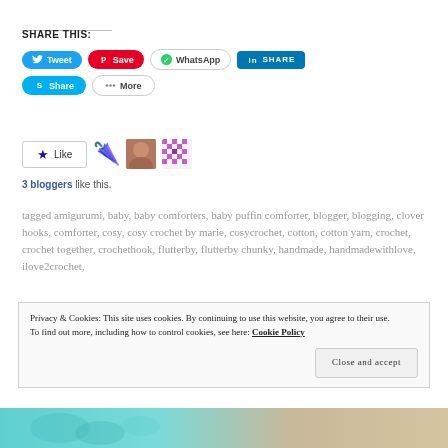SHARE THIS:
[Figure (screenshot): Social share buttons: Tweet (Twitter), Save (Pinterest), WhatsApp, SHARE (LinkedIn), Share (Skype), More]
[Figure (infographic): Like button with star icon, followed by 3 blogger avatars: umbrella emoji, woman photo, pixel pattern]
3 bloggers like this.
tagged amigurumi, baby, baby comforters, baby puffin comforter, blogger, blogging, clover hooks, comforter, cosy, cosy crochet by marie, cosycrochet, cotton, cotton yarn, crochet, crochet together, crochethook, flutterby, flutterby chunky, handmade, handmadewithlove, ilove2crochet,
Privacy & Cookies: This site uses cookies. By continuing to use this website, you agree to their use.
To find out more, including how to control cookies, see here: Cookie Policy
Close and accept
[Figure (photo): Bottom strip showing teal crochet and beige texture]